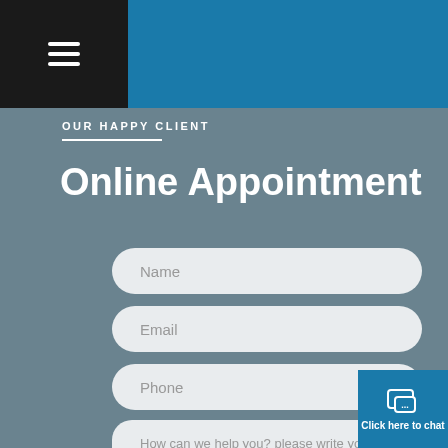Navigation bar with hamburger menu
OUR HAPPY CLIENT
Online Appointment
Name
Email
Phone
How can we help you? please write your questions here...
Click here to chat